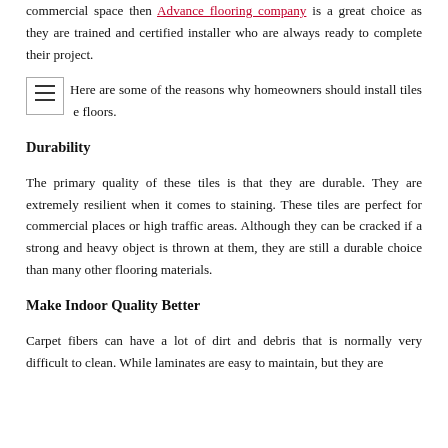commercial space then Advance flooring company is a great choice as they are trained and certified installer who are always ready to complete their project.
Here are some of the reasons why homeowners should install tiles e floors.
Durability
The primary quality of these tiles is that they are durable. They are extremely resilient when it comes to staining. These tiles are perfect for commercial places or high traffic areas. Although they can be cracked if a strong and heavy object is thrown at them, they are still a durable choice than many other flooring materials.
Make Indoor Quality Better
Carpet fibers can have a lot of dirt and debris that is normally very difficult to clean. While laminates are easy to maintain, but they are